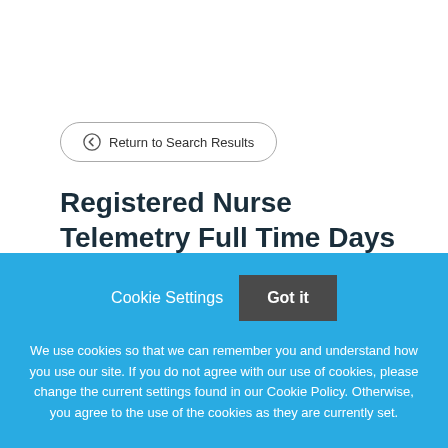← Return to Search Results
Registered Nurse Telemetry Full Time Days
Lakewood Regional Medical Center is proud to be an
Cookie Settings   Got it
We use cookies so that we can remember you and understand how you use our site. If you do not agree with our use of cookies, please change the current settings found in our Cookie Policy. Otherwise, you agree to the use of the cookies as they are currently set.